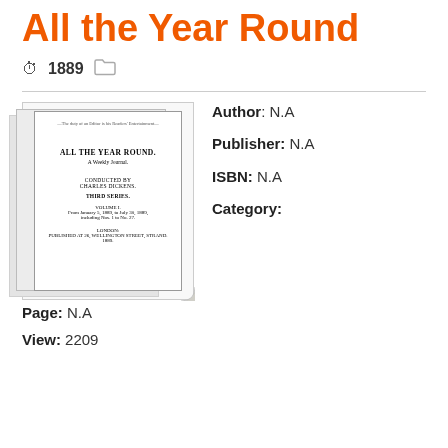All the Year Round
1889
[Figure (photo): Book cover image of 'All the Year Round, A Weekly Journal, Conducted by Charles Dickens, Third Series, Volume I', published in London]
Author: N.A
Publisher: N.A
ISBN: N.A
Category:
Page: N.A
View: 2209